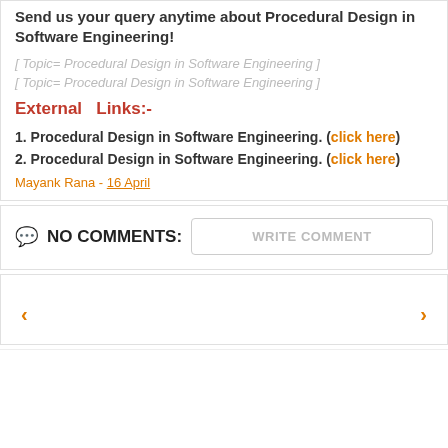Send us your query anytime about Procedural Design in Software Engineering!
[ Topic= Procedural Design in Software Engineering ]
[ Topic= Procedural Design in Software Engineering ]
External  Links:-
1. Procedural Design in Software Engineering. (click here)
2. Procedural Design in Software Engineering. (click here)
Mayank Rana - 16 April
💬 NO COMMENTS:
WRITE COMMENT
‹   ›